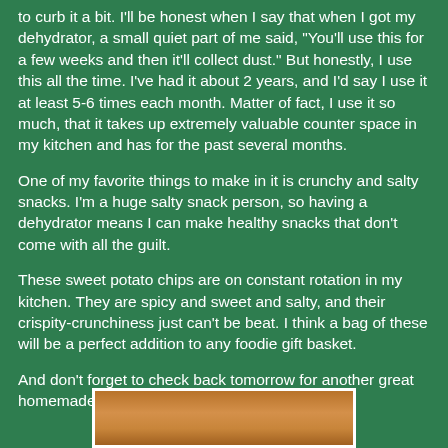to curb it a bit. I'll be honest when I say that when I got my dehydrator, a small quiet part of me said, "You'll use this for a few weeks and then it'll collect dust." But honestly, I use this all the time. I've had it about 2 years, and I'd say I use it at least 5-6 times each month. Matter of fact, I use it so much, that it takes up extremely valuable counter space in my kitchen and has for the past several months.
One of my favorite things to make in it is crunchy and salty snacks. I'm a huge salty snack person, so having a dehydrator means I can make healthy snacks that don't come with all the guilt.
These sweet potato chips are on constant rotation in my kitchen. They are spicy and sweet and salty, and their crispity-crunchiness just can't be beat. I think a bag of these will be a perfect addition to any foodie gift basket.
And don't forget to check back tomorrow for another great homemade gift idea.
[Figure (photo): Photo of sweet potato chips, partially visible at bottom of page]